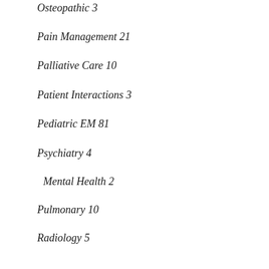Osteopathic 3
Pain Management 21
Palliative Care 10
Patient Interactions 3
Pediatric EM 81
Psychiatry 4
Mental Health 2
Pulmonary 10
Radiology 5
Rheumatology 1
Simulation 11